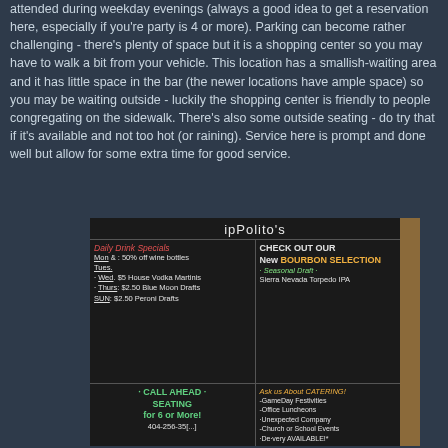attended during weekday evenings (always a good idea to get a reservation here, especially if you're party is 4 or more). Parking can become rather challenging - there's plenty of space but it is a shopping center so you may have to walk a bit from your vehicle. This location has a smallish-waiting area and it has little space in the bar (the newer locations have ample space) so you may be waiting outside - luckily the shopping center is friendly to people congregating on the sidewalk. There's also some outside seating - do try that if it's available and not too hot (or raining). Service here is prompt and done well but allow for some extra time for good service.
[Figure (photo): Photo of an ipPolito's restaurant chalkboard menu showing Daily Drink Specials (Mon & Tues: 50% off wine bottles, Wed: $5 House Vodka Martinis, Thurs: $2.50 Blue Moon Drafts, SUN: $2.50 Peroni Drafts), Check Out Our New Bourbon Selection, Seasonal Draft: Sierra Nevada Torpedo IPA, Call Ahead Seating for 6 or More! 404-256-35[cut off], and Ask Us About Catering with GameDay Festivities, Office Luncheons, Unexpected Company, Church or School Events, Delivery Available.]